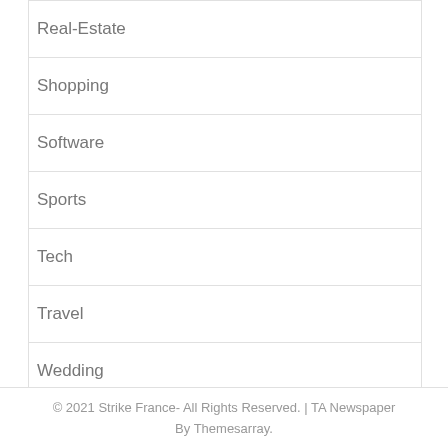Real-Estate
Shopping
Software
Sports
Tech
Travel
Wedding
© 2021 Strike France- All Rights Reserved. | TA Newspaper By Themesarray.